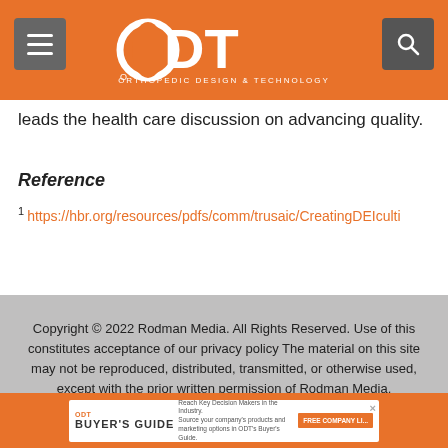ODT — Orthopedic Design & Technology
leads the health care discussion on advancing quality.
Reference
1 https://hbr.org/resources/pdfs/comm/trusaic/CreatingDEIculti
Copyright © 2022 Rodman Media. All Rights Reserved. Use of this constitutes acceptance of our privacy policy The material on this site may not be reproduced, distributed, transmitted, or otherwise used, except with the prior written permission of Rodman Media.
[Figure (infographic): ODT Buyer's Guide advertisement banner]